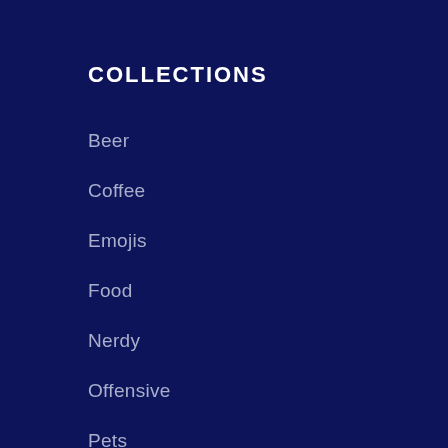COLLECTIONS
Beer
Coffee
Emojis
Food
Nerdy
Offensive
Pets
Pride